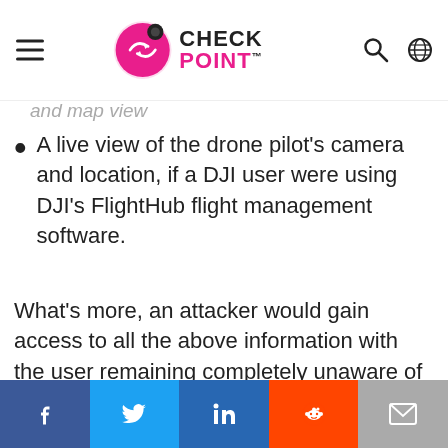Check Point
and map view
A live view of the drone pilot's camera and location, if a DJI user were using DJI's FlightHub flight management software.
What's more, an attacker would gain access to all the above information with the user remaining completely unaware of such an intrusion.
[Figure (screenshot): Video thumbnail for DJI Drone Vulnerabilities with Check Point logo, dark city skyline background, text reading CORPORATIONS ARE INCREASINGLY USING DRONES TO AID THEIR OPERATIONS]
Social share bar: Facebook, Twitter, LinkedIn, Reddit, Email